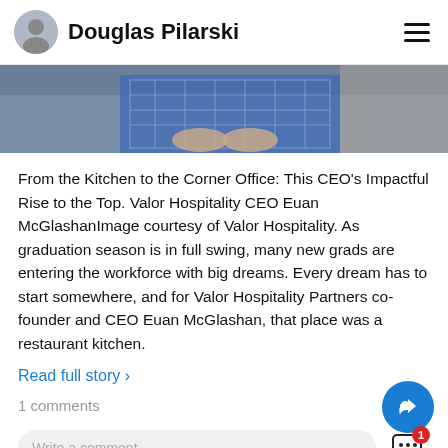Douglas Pilarski
[Figure (photo): Cropped photo of a person in a blue and white checkered shirt, hands clasped, sitting down. Only torso and hands visible.]
From the Kitchen to the Corner Office: This CEO's Impactful Rise to the Top. Valor Hospitality CEO Euan McGlashanImage courtesy of Valor Hospitality. As graduation season is in full swing, many new grads are entering the workforce with big dreams. Every dream has to start somewhere, and for Valor Hospitality Partners co-founder and CEO Euan McGlashan, that place was a restaurant kitchen.
Read full story ›
1 comments
Write a comment...